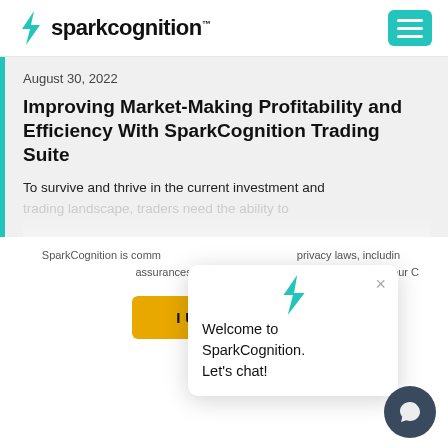sparkcognition
August 30, 2022
Improving Market-Making Profitability and Efficiency With SparkCognition Trading Suite
To survive and thrive in the current investment and trading landscape, traders need the ability to
SparkCognition is committed to complying with data privacy laws, including providing appropriate assurances in our contracts. We invite you to review our C
I Understand
[Figure (screenshot): SparkCognition chat widget popup with lightning bolt logo, text 'Welcome to SparkCognition. Let's chat!' and a close (x) button]
[Figure (illustration): Dark blue circular chat bubble button in bottom right corner]